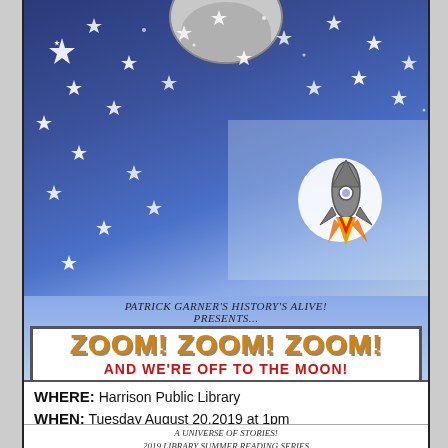[Figure (illustration): Night sky background with stars, crescent moon at top, a rocket ship illustration in the right-center area, and a lighter blue rectangular overlay on the right side]
PATRICK GARNER'S HISTORY'S ALIVE! PRESENTS...
ZOOM! ZOOM! ZOOM!
AND WE'RE OFF TO THE MOON!
WHERE: Harrison Public Library
WHEN: Tuesday August 20,2019 at 1pm
A UNIVERSE OF STORIES!
2019 LIBRARY SUMMER READING SERIES